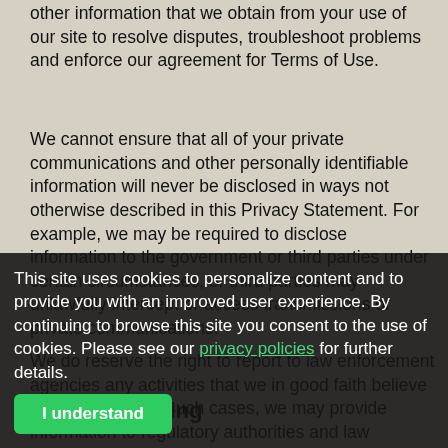other information that we obtain from your use of our site to resolve disputes, troubleshoot problems and enforce our agreement for Terms of Use.
We cannot ensure that all of your private communications and other personally identifiable information will never be disclosed in ways not otherwise described in this Privacy Statement. For example, we may be required to disclose information to the government or third parties under certain circumstances, or third parties may unlawfully intercept or access transmissions or private communications.
We do reserve the right to report to law enforcement agencies any activities that we in good faith believe to be unlawful. In such cases, we may provide information to regulatory authorities and law enforcement agencies.
Secure Ordering
takes every precaution to protect our customer's when users submit sensitive information via the Web site, their information is protected both online and
This site uses cookies to personalize content and to provide you with an improved user experience. By continuing to browse this site you consent to the use of cookies. Please see our privacy policies for further details.